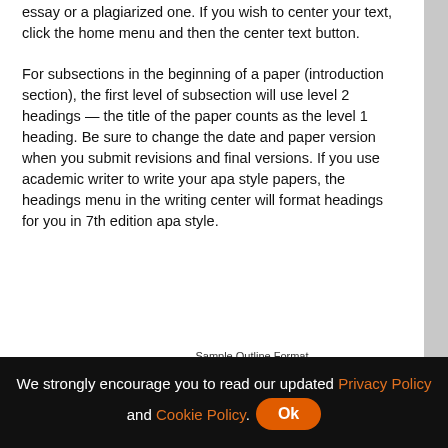essay or a plagiarized one. If you wish to center your text, click the home menu and then the center text button.
For subsections in the beginning of a paper (introduction section), the first level of subsection will use level 2 headings — the title of the paper counts as the level 1 heading. Be sure to change the date and paper version when you submit revisions and final versions. If you use academic writer to write your apa style papers, the headings menu in the writing center will format headings for you in 7th edition apa style.
Sample Outline Format
Name
COM114 Section A
We strongly encourage you to read our updated Privacy Policy and Cookie Policy. Ok